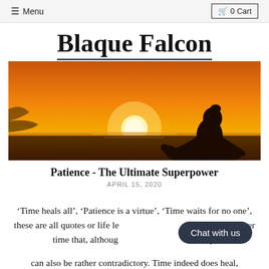≡ Menu   🛒 0 Cart
Blaque Falcon
[Figure (photo): Silhouette of a person meditating in a lotus position against a vivid orange sunset over water]
Patience - The Ultimate Superpower
APRIL 15, 2020
'Time heals all', 'Patience is a virtue', 'Time waits for no one', these are all quotes or life lessons that we hear consistently over time that, although contradictory, can also be rather contradictory. Time indeed does heal,